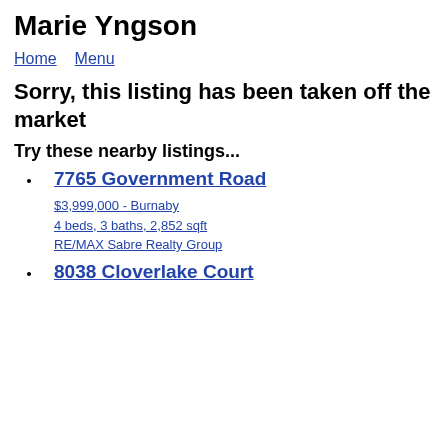Marie Yngson
Home  Menu
Sorry, this listing has been taken off the market
Try these nearby listings...
7765 Government Road
$3,999,000 - Burnaby
4 beds, 3 baths, 2,852 sqft
RE/MAX Sabre Realty Group
8038 Cloverlake Court